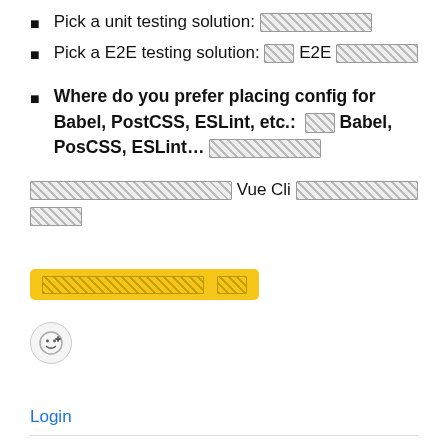Pick a unit testing solution: [redacted]
Pick a E2E testing solution: [redacted] E2E [redacted]
Where do you prefer placing config for Babel, PostCSS, ESLint, etc.: [redacted] Babel, PosCSS, ESLint... [redacted]
[redacted] Vue Cli [redacted]
[highlighted redacted text]
[Figure (other): Emoji add reaction icon (smiley face with plus sign) inside a light gray circle]
Login